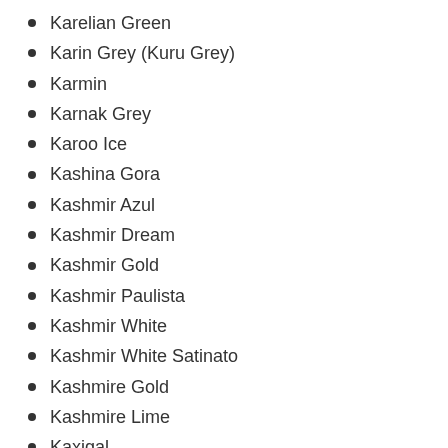Karelian Green
Karin Grey (Kuru Grey)
Karmin
Karnak Grey
Karoo Ice
Kashina Gora
Kashmir Azul
Kashmir Dream
Kashmir Gold
Kashmir Paulista
Kashmir White
Kashmir White Satinato
Kashmire Gold
Kashmire Lime
Kaxigal
Kerala Green
Kershaw®
Khotyzhsky
Kimberley Storm